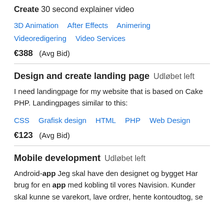Create 30 second explainer video
3D Animation   After Effects   Animering   Videoredigering   Video Services
€388  (Avg Bid)
Design and create landing page   Udløbet left
I need landingpage for my website that is based on Cake PHP. Landingpages similar to this:
CSS   Grafisk design   HTML   PHP   Web Design
€123  (Avg Bid)
Mobile development   Udløbet left
Android-app Jeg skal have den designet og bygget Har brug for en app med kobling til vores Navision. Kunder skal kunne se varekort, lave ordrer, hente kontoudtog, se